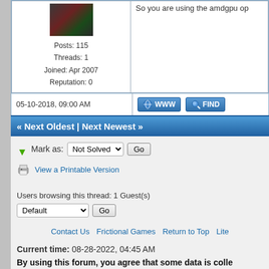Posts: 115  Threads: 1  Joined: Apr 2007  Reputation: 0
05-10-2018, 09:00 AM
« Next Oldest | Next Newest »
Mark as: Not Solved  Go
View a Printable Version
Users browsing this thread: 1 Guest(s)
Default  Go
Contact Us  Frictional Games  Return to Top  Lite
Current time: 08-28-2022, 04:45 AM
By using this forum, you agree that some data is colle
Powered By MyBB, © 2002-2022 MyBB Group.